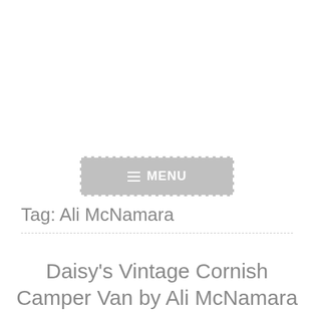[Figure (screenshot): A grey navigation menu button with dashed white border and hamburger icon labeled MENU]
Tag: Ali McNamara
Daisy's Vintage Cornish Camper Van by Ali McNamara [BOOK